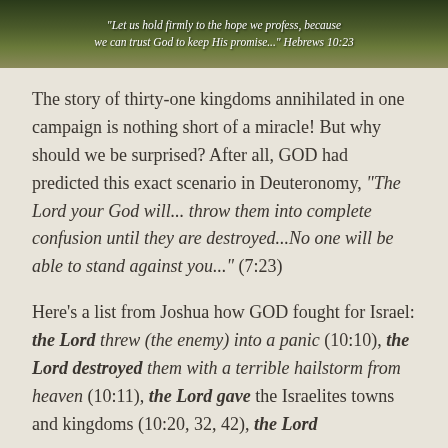[Figure (photo): Outdoor nature photo with green foliage/grass background, overlaid with white italic text quoting Hebrews 10:23]
The story of thirty-one kingdoms annihilated in one campaign is nothing short of a miracle! But why should we be surprised? After all, GOD had predicted this exact scenario in Deuteronomy, "The Lord your God will...throw them into complete confusion until they are destroyed...No one will be able to stand against you..." (7:23)
Here's a list from Joshua how GOD fought for Israel: the Lord threw (the enemy) into a panic (10:10), the Lord destroyed them with a terrible hailstorm from heaven (10:11), the Lord gave the Israelites towns and kingdoms (10:20, 32, 42), the Lord